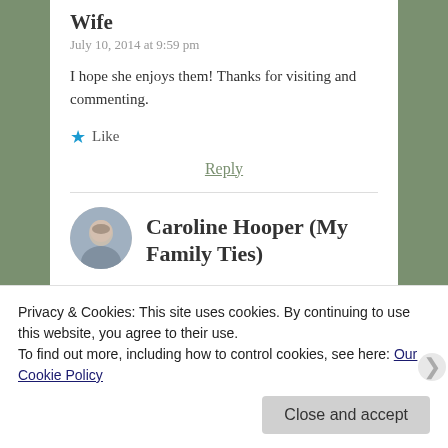Wife
July 10, 2014 at 9:59 pm
I hope she enjoys them! Thanks for visiting and commenting.
★ Like
Reply
Caroline Hooper (My Family Ties)
Privacy & Cookies: This site uses cookies. By continuing to use this website, you agree to their use.
To find out more, including how to control cookies, see here: Our Cookie Policy